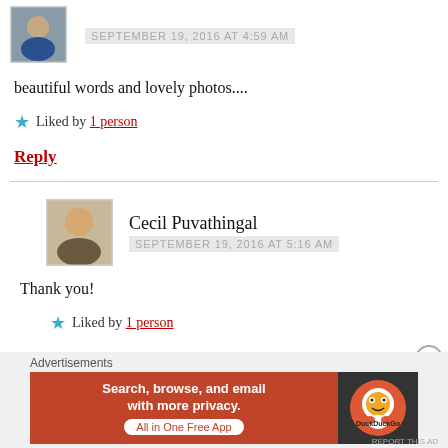[Figure (photo): Small avatar photo of a person in a blue t-shirt]
SEPTEMBER 19, 2016 AT 4:59 AM
beautiful words and lovely photos....
★ Liked by 1 person
Reply
[Figure (photo): Avatar photo of Cecil Puvathingal]
Cecil Puvathingal
SEPTEMBER 19, 2016 AT 5:16 AM
Thank you!
★ Liked by 1 person
[Figure (screenshot): DuckDuckGo advertisement banner: Search, browse, and email with more privacy. All in One Free App]
Advertisements